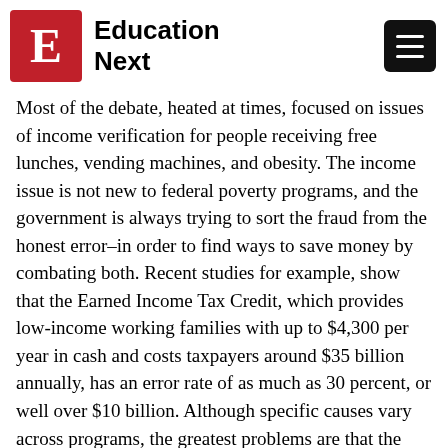Education Next
Most of the debate, heated at times, focused on issues of income verification for people receiving free lunches, vending machines, and obesity. The income issue is not new to federal poverty programs, and the government is always trying to sort the fraud from the honest error–in order to find ways to save money by combating both. Recent studies for example, show that the Earned Income Tax Credit, which provides low-income working families with up to $4,300 per year in cash and costs taxpayers around $35 billion annually, has an error rate of as much as 30 percent, or well over $10 billion. Although specific causes vary across programs, the greatest problems are that the income of poor families changes frequently and that income is difficult to verify. Moreover, it is expensive to verify income because families must bring or send evidence,